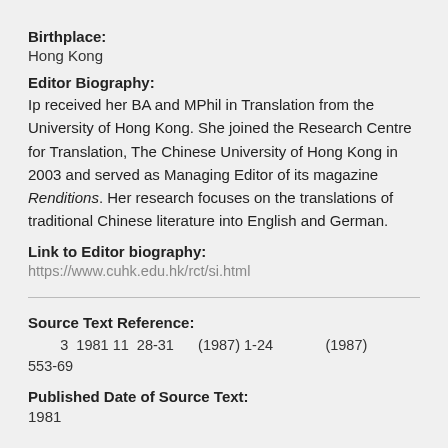Birthplace:
Hong Kong
Editor Biography:
Ip received her BA and MPhil in Translation from the University of Hong Kong. She joined the Research Centre for Translation, The Chinese University of Hong Kong in 2003 and served as Managing Editor of its magazine Renditions. Her research focuses on the translations of traditional Chinese literature into English and German.
Link to Editor biography:
https://www.cuhk.edu.hk/rct/si.html
Source Text Reference:
3  1981 11  28-31      (1987) 1-24           (1987) 553-69
Published Date of Source Text:
1981